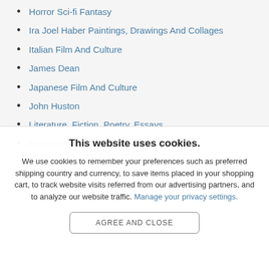Horror Sci-fi Fantasy
Ira Joel Haber Paintings, Drawings And Collages
Italian Film And Culture
James Dean
Japanese Film And Culture
John Huston
Literature, Fiction, Poetry, Essays
Magazines, Periodicals & Journals
Magazines, Periodicals & Journals
This website uses cookies.
We use cookies to remember your preferences such as preferred shipping country and currency, to save items placed in your shopping cart, to track website visits referred from our advertising partners, and to analyze our website traffic. Manage your privacy settings.